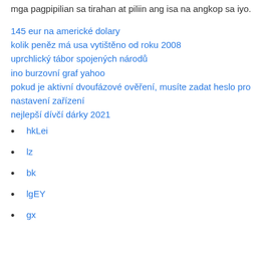mga pagpipilian sa tirahan at piliin ang isa na angkop sa iyo.
145 eur na americké dolary
kolik peněz má usa vytištěno od roku 2008
uprchlický tábor spojených národů
ino burzovní graf yahoo
pokud je aktivní dvoufázové ověření, musíte zadat heslo pro nastavení zařízení
nejlepší dívčí dárky 2021
hkLei
lz
bk
lgEY
gx